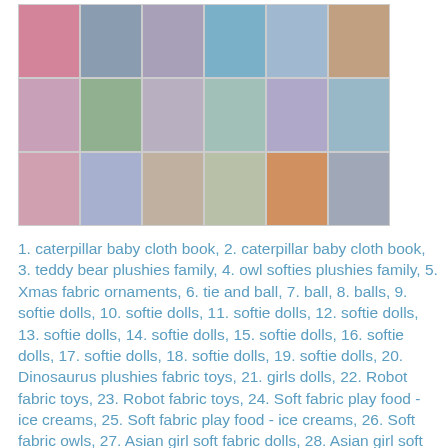[Figure (photo): Grid of toy and doll product photos arranged in 3 rows and 6 columns showing various fabric toys, plushies, dolls, and soft toys.]
1. caterpillar baby cloth book, 2. caterpillar baby cloth book, 3. teddy bear plushies family, 4. owl softies plushies family, 5. Xmas fabric ornaments, 6. tie and ball, 7. ball, 8. balls, 9. softie dolls, 10. softie dolls, 11. softie dolls, 12. softie dolls, 13. softie dolls, 14. softie dolls, 15. softie dolls, 16. softie dolls, 17. softie dolls, 18. softie dolls, 19. softie dolls, 20. Dinosaurus plushies fabric toys, 21. girls dolls, 22. Robot fabric toys, 23. Robot fabric toys, 24. Soft fabric play food - ice creams, 25. Soft fabric play food - ice creams, 26. Soft fabric owls, 27. Asian girl soft fabric dolls, 28. Asian girl soft fabric dolls, 29. Asian girl soft fabric dolls, 30. mermaid plush dolls, 31. kids soft fabric dolls, 32. kids soft fabric dolls, 33. kids soft fabric dolls, 34. princesses dolls, 35. Fox pillow, foxes, dolls and wolfs - cut and sew pattern, 36. Fox pillow